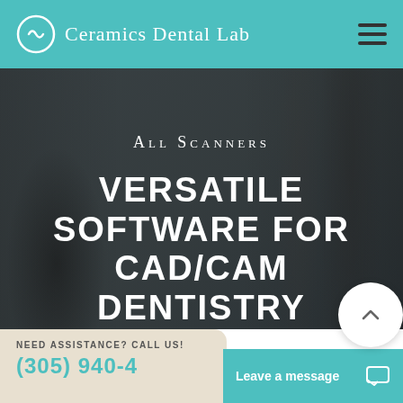Ceramics Dental Lab
All Scanners
VERSATILE SOFTWARE FOR CAD/CAM DENTISTRY
NEED ASSISTANCE? CALL US!
(305) 940-4...
Leave a message